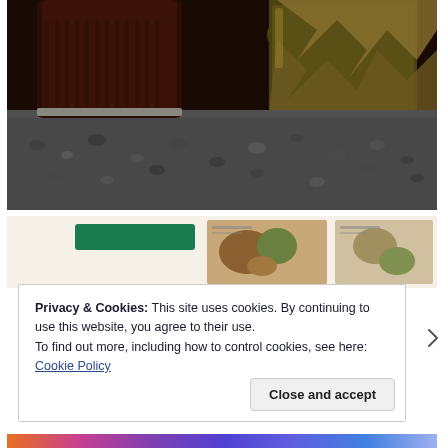[Figure (photo): Close-up photograph of two containers on a dark gravel/stone countertop surface. Left container appears to be a dark brown/black opaque jar. Right container is a glass jar with what appears to be gold/yellow wrapping or foil inside. The background shows a dark, textured surface.]
[Figure (screenshot): Partial screenshot of a website or app interface showing a teal/green button and thumbnail images of food/recipe photos on a light beige background.]
Privacy & Cookies: This site uses cookies. By continuing to use this website, you agree to their use.
To find out more, including how to control cookies, see here: Cookie Policy
Close and accept